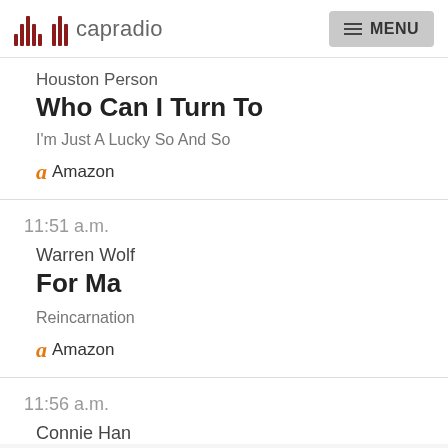capradio | MENU
Houston Person
Who Can I Turn To
I'm Just A Lucky So And So
Amazon
11:51 a.m.
Warren Wolf
For Ma
Reincarnation
Amazon
11:56 a.m.
Connie Han